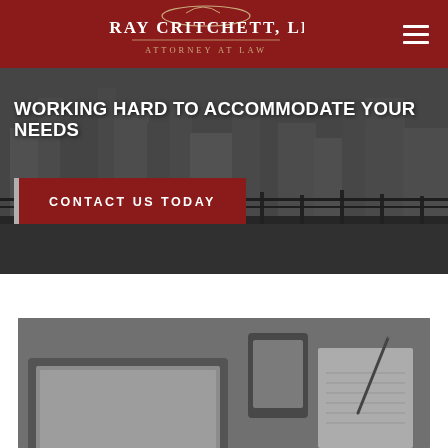E. Ray Critchett, LLC — Attorney at Law
WORKING HARD TO ACCOMMODATE YOUR NEEDS
CONTACT US TODAY
[Figure (photo): Grayscale background photo of cityscape/street scene behind hero section]
[Figure (photo): Grayscale photo of a desk with laptop, tablet, and pen on notepad]